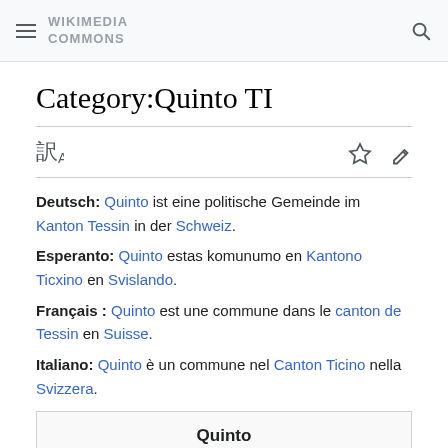Wikimedia Commons
Category:Quinto TI
Deutsch: Quinto ist eine politische Gemeinde im Kanton Tessin in der Schweiz. Esperanto: Quinto estas komunumo en Kantono Ticxino en Svislando. Français : Quinto est une commune dans le canton de Tessin en Suisse. Italiano: Quinto è un commune nel Canton Ticino nella Svizzera.
Quinto